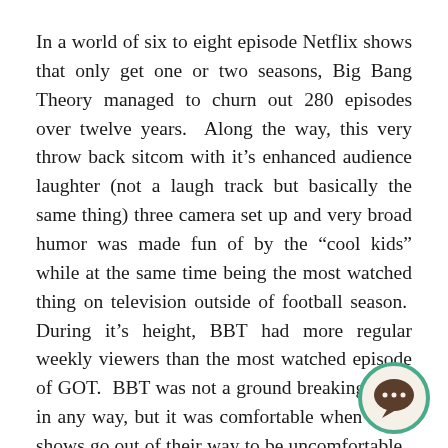In a world of six to eight episode Netflix shows that only get one or two seasons, Big Bang Theory managed to churn out 280 episodes over twelve years.  Along the way, this very throw back sitcom with it's enhanced audience laughter (not a laugh track but basically the same thing) three camera set up and very broad humor was made fun of by the “cool kids” while at the same time being the most watched thing on television outside of football season.  During it’s height, BBT had more regular weekly viewers than the most watched episode of GOT.  BBT was not a ground breaking show in any way, but it was comfortable when many shows go out of their way to be uncomfortable.  The perfect airplane show – which is where I first watched it, bingeing five or six episodes about a decade ago before the airlines started to offer better options and before anyone knew what bingeing in the
[Figure (illustration): A circular chat/messaging icon with a teal/green border and a dark brown speech bubble with three dots inside, suggesting a messaging or comment feature.]